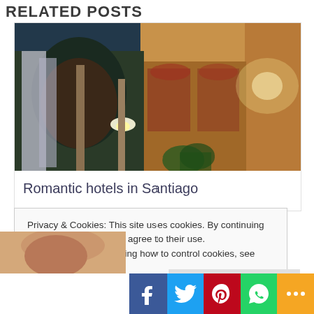RELATED POSTS
[Figure (photo): Interior of a hotel lobby with warm lighting, arched ceilings, decorative columns, wall sconces, and green plants]
Romantic hotels in Santiago
Privacy & Cookies: This site uses cookies. By continuing to use this website, you agree to their use.
To find out more, including how to control cookies, see here: Cookie Policy
Close and accept
[Figure (photo): Partial bottom-left image, person or scene cropped]
[Figure (other): Social share bar with Facebook, Twitter, Pinterest, WhatsApp, and More buttons]